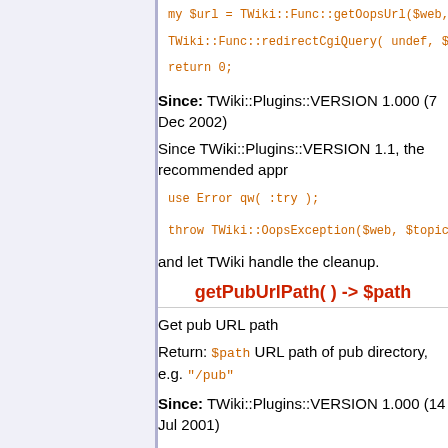my $url = TWiki::Func::getOopsUrl($web, $topic, 'oop
TWiki::Func::redirectCgiQuery( undef, $url );
return 0;
Since: TWiki::Plugins::VERSION 1.000 (7 Dec 2002)
Since TWiki::Plugins::VERSION 1.1, the recommended appr
use Error qw( :try );
throw TWiki::OopsException($web, $topic, undef, 0, [
and let TWiki handle the cleanup.
getPubUrlPath( ) -> $path
Get pub URL path
Return: $path URL path of pub directory, e.g. "/pub"
Since: TWiki::Plugins::VERSION 1.000 (14 Jul 2001)
getCgiQuery( ) -> $query
Get CGI query object. Important: Plugins cannot assume th